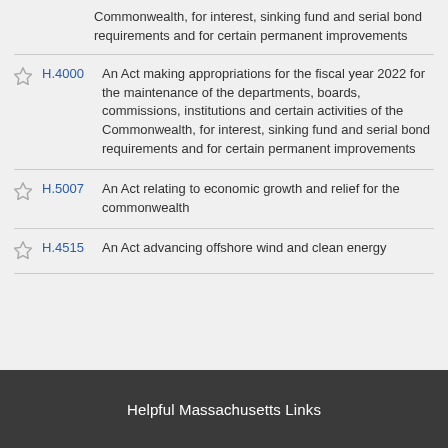Commonwealth, for interest, sinking fund and serial bond requirements and for certain permanent improvements
H.4000 — An Act making appropriations for the fiscal year 2022 for the maintenance of the departments, boards, commissions, institutions and certain activities of the Commonwealth, for interest, sinking fund and serial bond requirements and for certain permanent improvements
H.5007 — An Act relating to economic growth and relief for the commonwealth
H.4515 — An Act advancing offshore wind and clean energy
Helpful Massachusetts Links